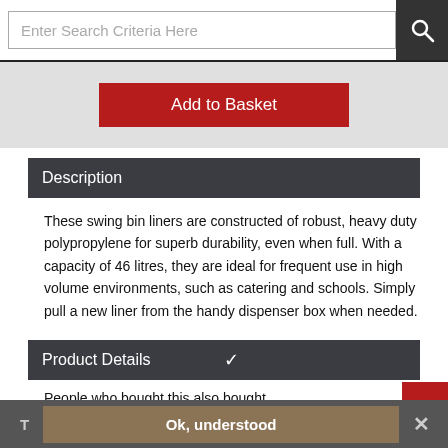Enter Search Criteria Here
[Figure (screenshot): Add to Basket button (red) on grey background]
Description
These swing bin liners are constructed of robust, heavy duty polypropylene for superb durability, even when full. With a capacity of 46 litres, they are ideal for frequent use in high volume environments, such as catering and schools. Simply pull a new liner from the handy dispenser box when needed.
Product Details
People who bought this also bought
T  Ok, understood  ×